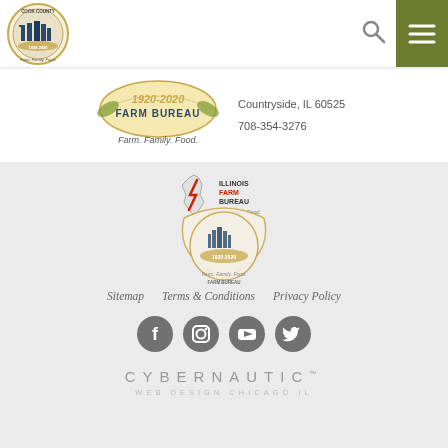[Figure (logo): Cook County Farm Bureau circular logo with 1920-2020 banner, Farm. Family. Food. tagline]
[Figure (logo): Search icon magnifying glass]
[Figure (logo): Green menu hamburger button]
[Figure (logo): Cook County Farm Bureau 1920-2020 banner logo with Farm Bureau text and Farm. Family. Food. tagline]
Countryside, IL 60525
708-354-3276
[Figure (logo): Illinois Farm Bureau logo with Farm. Family. Food. tagline overlaid with Cook County Farm Bureau 1920-2020 circular logo]
Sitemap   Terms & Conditions   Privacy Policy
[Figure (logo): Social media icons: Facebook, Instagram, YouTube, Twitter]
CYBERNAUTIC
WEB DESIGN CHICAGO IL